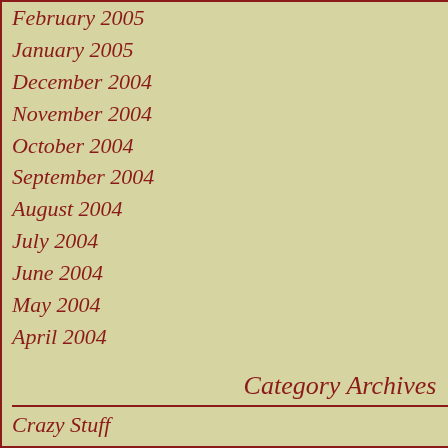February 2005
January 2005
December 2004
November 2004
October 2004
September 2004
August 2004
July 2004
June 2004
May 2004
April 2004
Category Archives
Crazy Stuff
Key Advice
Key Bitchin'
Key Bloggers
Key Issues With Society
Public Service Announcement
Social Issues, not to be confused with Politics
Bloggers I've Met
Thanks
Posted by: annie 09:04 AM
I',m pretty sure t now...
Posted by: Virgil 03:55 PM
Love ya, Key.
Posted by: baldiloc 09:34 PM
Perfect. Absoluteh
And I have to a would approve.....
Posted by: Tammi 08:16 AM
You made him time. Thanks for always a charm